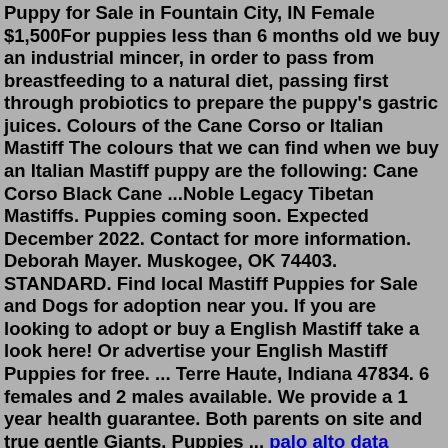Puppy for Sale in Fountain City, IN Female $1,500For puppies less than 6 months old we buy an industrial mincer, in order to pass from breastfeeding to a natural diet, passing first through probiotics to prepare the puppy's gastric juices. Colours of the Cane Corso or Italian Mastiff The colours that we can find when we buy an Italian Mastiff puppy are the following: Cane Corso Black Cane ...Noble Legacy Tibetan Mastiffs. Puppies coming soon. Expected December 2022. Contact for more information. Deborah Mayer. Muskogee, OK 74403. STANDARD. Find local Mastiff Puppies for Sale and Dogs for adoption near you. If you are looking to adopt or buy a English Mastiff take a look here! Or advertise your English Mastiff Puppies for free. ... Terre Haute, Indiana 47834. 6 females and 2 males available. We provide a 1 year health guarantee. Both parents on site and true gentle Giants. Puppies ... palo alto data center firewall Meet The LitterMates. Angela has a couple siblings you may also like to meet! Amy. $1200 Amber. Found a forever home! Aly. $1200 Ashley.